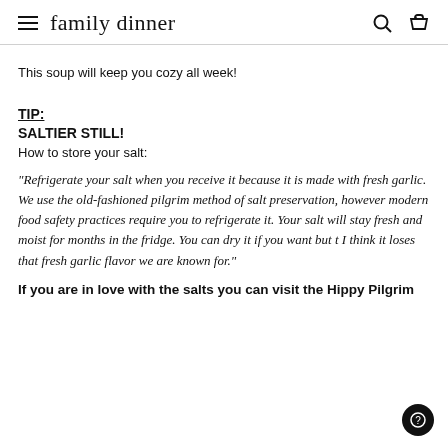family dinner
This soup will keep you cozy all week!
TIP:
SALTIER STILL!
How to store your salt:
"Refrigerate your salt when you receive it because it is made with fresh garlic. We use the old-fashioned pilgrim method of salt preservation, however modern food safety practices require you to refrigerate it. Your salt will stay fresh and moist for months in the fridge. You can dry it if you want but t I think it loses that fresh garlic flavor we are known for."
If you are in love with the salts you can visit the Hippy Pilgrim